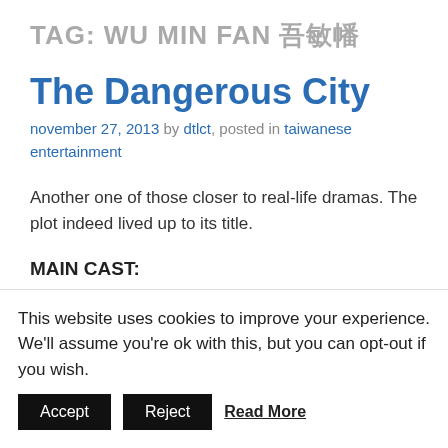TAG: WU MIN FAN 吳敏幡
The Dangerous City
november 27, 2013 by dtlct, posted in taiwanese entertainment
Another one of those closer to real-life dramas. The plot indeed lived up to its title.
MAIN CAST:
Lin Qing Tai (林慶台) as Wa Dan (瓦旦). A security guard. A
This website uses cookies to improve your experience. We'll assume you're ok with this, but you can opt-out if you wish.